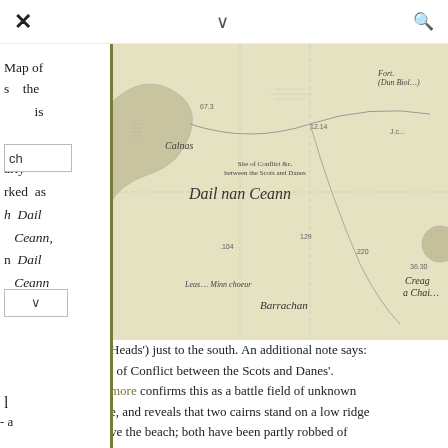× ∨ 🔍
Map of s the ch is arly rked as h Dail Ceann, n Dail Ceann ld of
[Figure (map): Historical map excerpt showing 'Dail nan Ceann' area with Barrachan and Creag a Chait marked, old Scottish ordnance survey style map with terrain features, coastline and field boundaries.]
Heads') just to the south. An additional note says: · of Conflict between the Scots and Danes'. more confirms this as a battle field of unknown e, and reveals that two cairns stand on a low ridge ve the beach; both have been partly robbed of ne over the centuries. Of the north east cairn, one